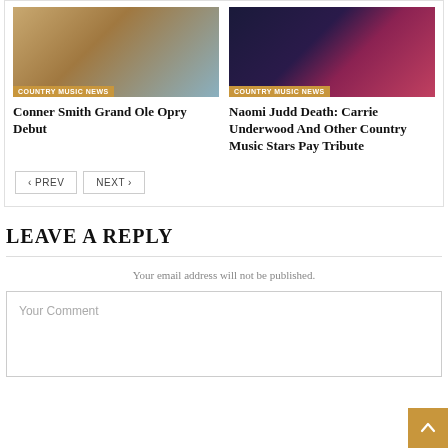[Figure (photo): Photo of Conner Smith wearing a cap outdoors, country music news badge overlay]
COUNTRY MUSIC NEWS
Conner Smith Grand Ole Opry Debut
[Figure (photo): Photo of Naomi Judd with red hair, country music news badge overlay]
COUNTRY MUSIC NEWS
Naomi Judd Death: Carrie Underwood And Other Country Music Stars Pay Tribute
< PREV
NEXT >
LEAVE A REPLY
Your email address will not be published.
Your Comment